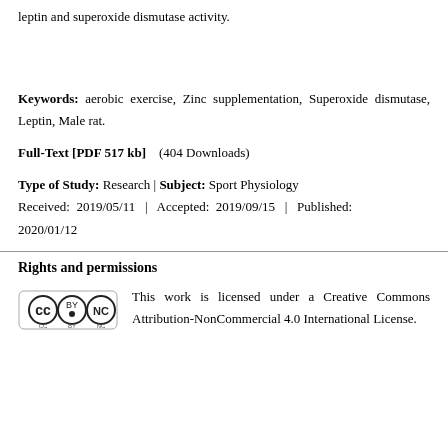leptin and superoxide dismutase activity.
Keywords: aerobic exercise, Zinc supplementation, Superoxide dismutase, Leptin, Male rat.
Full-Text [PDF 517 kb]   (404 Downloads)
Type of Study: Research | Subject: Sport Physiology
Received: 2019/05/11 | Accepted: 2019/09/15 | Published: 2020/01/12
Rights and permissions
This work is licensed under a Creative Commons Attribution-NonCommercial 4.0 International License.